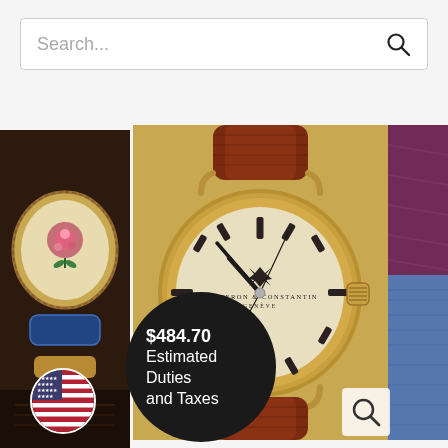Search...
[Figure (photo): Left partial image of a vintage ornate watch or jewelry piece with floral and enamel details on a leather strap]
[Figure (photo): Center image of a Vacheron & Constantin Geneve watch with champagne/cream dial, gold case, brown crocodile leather strap, and stick hour markers]
[Figure (photo): Right partial image of a person wearing jeans with a purple/maroon blouse]
$484.70 Estimated Duties and Taxes
[Figure (illustration): US flag circle icon (stars and stripes)]
[Figure (illustration): Search/magnifying glass icon at bottom right]